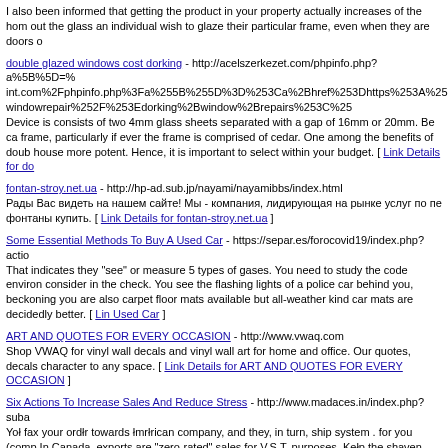I also been informed that getting the product in your property actually increases of the home value...
double glazed windows cost dorking - http://acelszerkezet.com/phpinfo.php?a%5B%5D=% int.com%2Fphpinfo.php%3Fa%255B%255D%3D%253Ca%2Bhref%253Dhttps%253A%25 windowrepair%252F%253Edorking%2Bwindow%2Brepairs%253C%25
Device is consists of two 4mm glass sheets separated with a gap of 16mm or 20mm...
fontan-stroy.net.ua - http://hp-ad.sub.jp/nayami/nayamibbs/index.html
Рады Вас видеть на нашем сайте! Мы - компания, лидирующая на рынке услуг по пе фонтаны купить. [ Link Details for fontan-stroy.net.ua ]
Some Essential Methods To Buy A Used Car - https://separ.es/forocovid19/index.php?actio
That indicates they "see" or measure 5 types of gases. You need to study the code environ consider in the check. You see the flashing lights of a police car behind you, beckoning you are also carpet floor mats available but all-weather kind car mats are decidedly better. [ Lin Used Car ]
ART AND QUOTES FOR EVERY OCCASION - http://www.vwaq.com
Shop VWAQ for vinyl wall decals and vinyl wall art for home and office. Our quotes, decals character to any space. [ Link Details for ART AND QUOTES FOR EVERY OCCASION ]
Six Actions To Increase Sales And Reduce Stress - http://www.madaces.in/index.php?suba
You fax your order towards American company, and they, in turn, ship system . for you (comp In Canada, exports are "zero-rated" sales for V.S.T. purposes. Keep the shaven area well m moisturizer or baby lotion. Okay, a person get just a little grouchy once in a while--don't eve Sales And Reduce Stress ]
Bao Ngón Tay Cao Su Đặc Y Tế Quần 1 Ngón - Dùng Đặt Thuốc Phụ Khoa - https://stitch
Bao cao su đặc đôn dên ngón tay Aichao có tua được sản xuất bởi vi thương hiệu đó cho Details for Bao Ngón Tay Cao Su Đặc Y Tế Quần 1 Ngón - Dùng Đặt Thuốc Phụ Khoa ]
כמה קלוריות יש בדובדבנים - http://nsato.org/cgi-def/admin/C-100/icon/yybbs.cgi?list=thread
Hello from Australia. I'm glad to came across you. My first name is Frank. I live in a small c